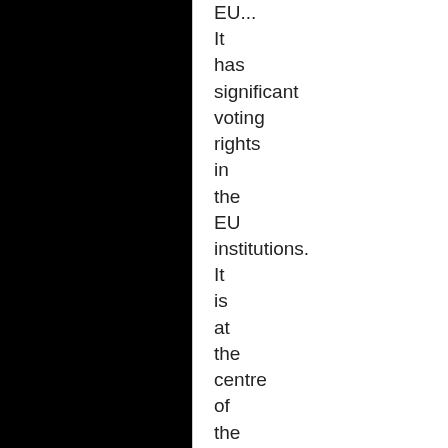EU... It has significant voting rights in the EU institutions. It is at the centre of the immigration crisis. It has a strong military and